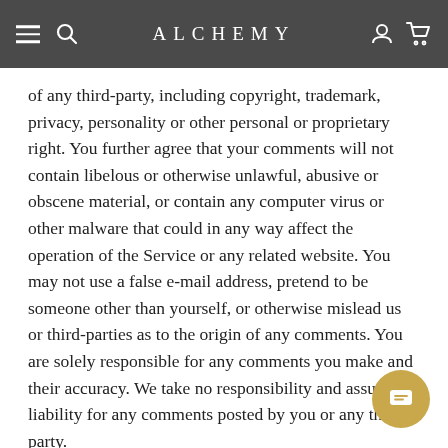ALCHEMY
of any third-party, including copyright, trademark, privacy, personality or other personal or proprietary right. You further agree that your comments will not contain libelous or otherwise unlawful, abusive or obscene material, or contain any computer virus or other malware that could in any way affect the operation of the Service or any related website. You may not use a false e-mail address, pretend to be someone other than yourself, or otherwise mislead us or third-parties as to the origin of any comments. You are solely responsible for any comments you make and their accuracy. We take no responsibility and assume no liability for any comments posted by you or any third-party.
SECTION 11 - PERSONAL INFORMATION
Your submission of personal information through the